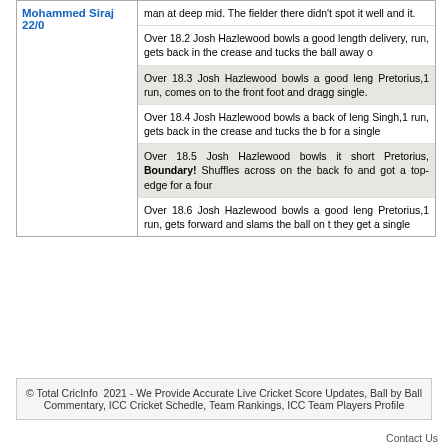Mohammed Siraj 22/0
man at deep mid. The fielder there didn't spot it well and it.
Over 18.2 Josh Hazlewood bowls a good length delivery, run, gets back in the crease and tucks the ball away o
Over 18.3 Josh Hazlewood bowls a good length Pretorius,1 run, comes on to the front foot and dragg single.
Over 18.4 Josh Hazlewood bowls a back of leng Singh,1 run, gets back in the crease and tucks the b for a single
Over 18.5 Josh Hazlewood bowls it short Pretorius, Boundary! Shuffles across on the back fo and got a top-edge for a four
Over 18.6 Josh Hazlewood bowls a good leng Pretorius,1 run, gets forward and slams the ball on t they get a single
© Total CricInfo 2021 - We Provide Accurate Live Cricket Score Updates, Ball by Ball Commentary, ICC Cricket Schedle, Team Rankings, ICC Team Players Profile
Contact Us